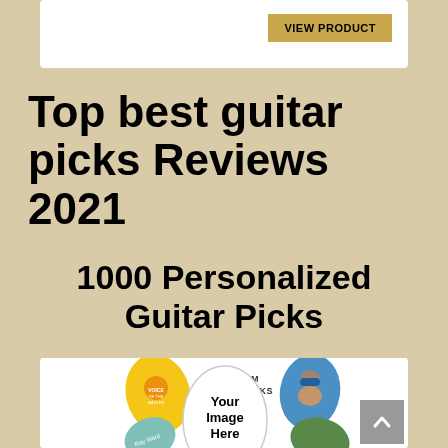[Figure (other): Partial top white card with a golden 'VIEW PRODUCT' button in the upper right corner]
Top best guitar picks Reviews 2021
1000 Personalized Guitar Picks
[Figure (illustration): Custom guitar picks product image showing multiple personalized guitar picks with text 'Custom Guitar Picks' and 'Your Image Here', along with picks featuring a person's photo, a logo pick, a blue pick labeled 'Ray Ward', and a green scenic pick. A gray scroll-to-top arrow button is visible in the bottom right.]